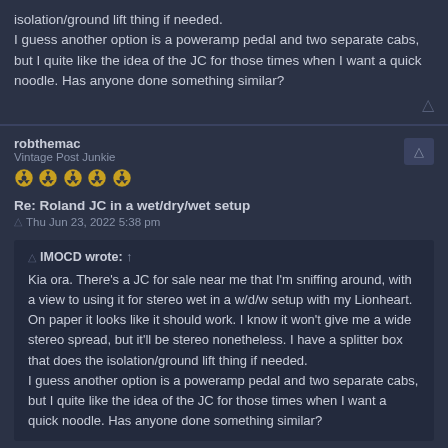isolation/ground lift thing if needed.
I guess another option is a poweramp pedal and two separate cabs, but I quite like the idea of the JC for those times when I want a quick noodle. Has anyone done something similar?
robthemac
Vintage Post Junkie
Re: Roland JC in a wet/dry/wet setup
Thu Jun 23, 2022 5:38 pm
IMOCD wrote: ↑
Kia ora. There's a JC for sale near me that I'm sniffing around, with a view to using it for stereo wet in a w/d/w setup with my Lionheart. On paper it looks like it should work. I know it won't give me a wide stereo spread, but it'll be stereo nonetheless. I have a splitter box that does the isolation/ground lift thing if needed.
I guess another option is a poweramp pedal and two separate cabs, but I quite like the idea of the JC for those times when I want a quick noodle. Has anyone done something similar?
If you really want the stereo effect, distance between the speakers is pretty essential. Less important if you just want a wet/dry effect.